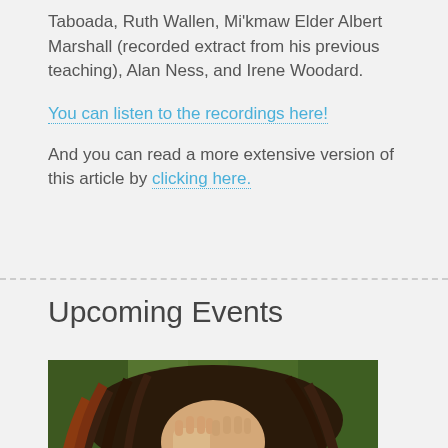Taboada, Ruth Wallen, Mi'kmaw Elder Albert Marshall (recorded extract from his previous teaching), Alan Ness, and Irene Woodard.
You can listen to the recordings here!
And you can read a more extensive version of this article by clicking here.
Upcoming Events
[Figure (photo): A person lying on grass with long hair spread out, covering their face with both hands (palms facing outward).]